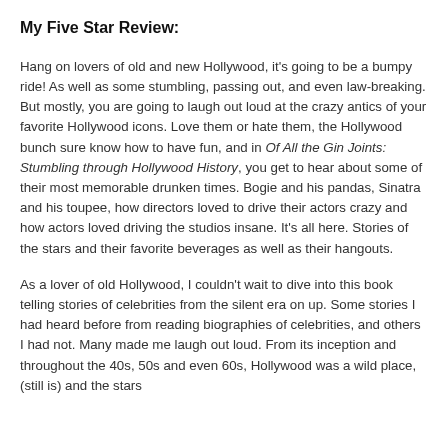My Five Star Review:
Hang on lovers of old and new Hollywood, it's going to be a bumpy ride! As well as some stumbling, passing out, and even law-breaking. But mostly, you are going to laugh out loud at the crazy antics of your favorite Hollywood icons. Love them or hate them, the Hollywood bunch sure know how to have fun, and in Of All the Gin Joints: Stumbling through Hollywood History, you get to hear about some of their most memorable drunken times. Bogie and his pandas, Sinatra and his toupee, how directors loved to drive their actors crazy and how actors loved driving the studios insane. It's all here. Stories of the stars and their favorite beverages as well as their hangouts.
As a lover of old Hollywood, I couldn't wait to dive into this book telling stories of celebrities from the silent era on up. Some stories I had heard before from reading biographies of celebrities, and others I had not. Many made me laugh out loud. From its inception and throughout the 40s, 50s and even 60s, Hollywood was a wild place, (still is) and the stars